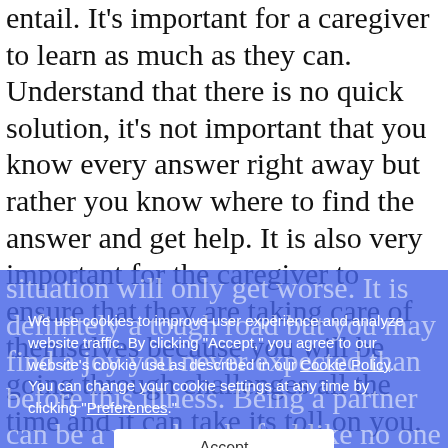entail. It's important for a caregiver to learn as much as they can. Understand that there is no quick solution, it's not important that you know every answer right away but rather you know where to find the answer and get help. It is also very important for the caregiver to ensure that they are taking care of themselves because you will be going through challenges all the time and it can take its toll on you. Communication is key, it's easy to get frustrated and angry but I can guarantee that if you allow your emotions to get the best of you, the
situation will only get worse. It is definitely a tough road but you may find a joy you never expected than before this illness. Being a partner can be a very lonely feel... like no one will ever understand you and what you are going through but you will learn that a lot of people go through this. I actually find it helpful to...
We use cookies to improve user experience and analyze website traffic. By clicking "Accept," you agree to our website's cookie use as described in our Cookie Policy. You can change your cookie settings at any time by clicking "Preferences."